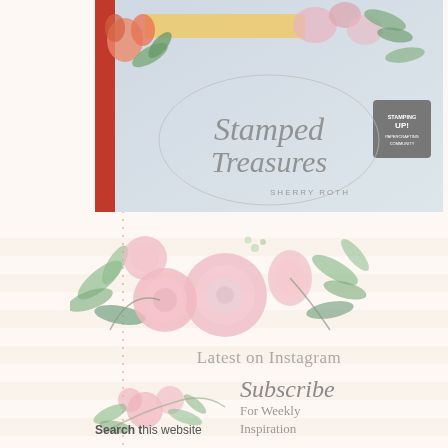[Figure (photo): Book cover showing 'Stamped Treasures by Sherry Roth' with floral watercolor decorations and Stamping Up logo, on a gray-blue background with a red spine on the left]
Latest on Instagram
[Figure (illustration): Pink and green watercolor floral arrangement with roses and leaves]
Subscribe For Weekly Inspiration
Search this website